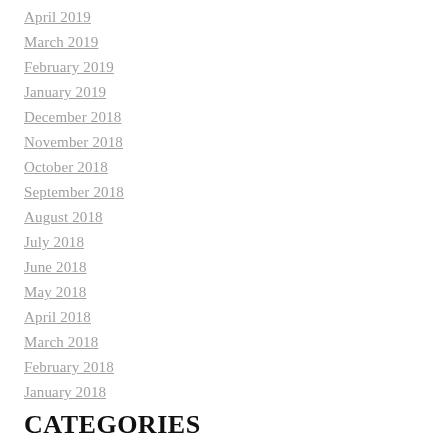April 2019
March 2019
February 2019
January 2019
December 2018
November 2018
October 2018
September 2018
August 2018
July 2018
June 2018
May 2018
April 2018
March 2018
February 2018
January 2018
CATEGORIES
All